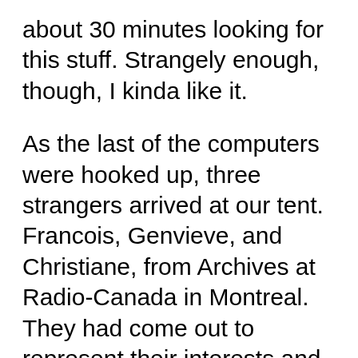about 30 minutes looking for this stuff. Strangely enough, though, I kinda like it.
As the last of the computers were hooked up, three strangers arrived at our tent. Francois, Genvieve, and Christiane, from Archives at Radio-Canada in Montreal. They had come out to represent their interests and assist us with our display. Although at first confused (I wasn't aware they were coming), I was very happy to